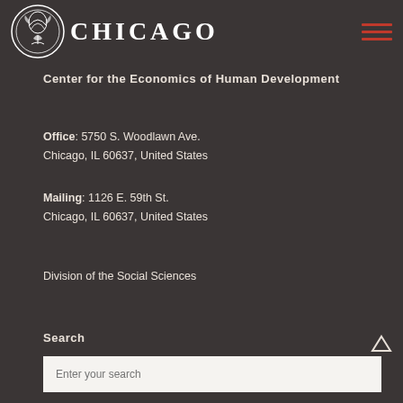CHICAGO
Center for the Economics of Human Development
Office: 5750 S. Woodlawn Ave.
Chicago, IL 60637, United States
Mailing: 1126 E. 59th St.
Chicago, IL 60637, United States
Division of the Social Sciences
Search
Enter your search